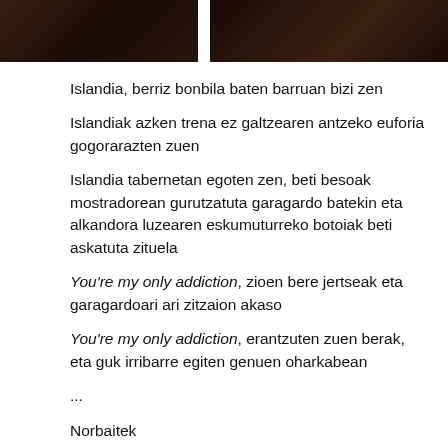[Figure (photo): Dark photograph split into two panels showing figures in low light, dark reddish-brown tones]
Islandia, berriz bonbila baten barruan bizi zen
Islandiak azken trena ez galtzearen antzeko euforia gogorarazten zuen
Islandia tabernetan egoten zen, beti besoak mostradorean gurutzatuta garagardo batekin eta alkandora luzearen eskumuturreko botoiak beti askatuta zituela
You're my only addiction, zioen bere jertseak eta garagardoari ari zitzaion akaso
You're my only addiction, erantzuten zuen berak, eta guk irribarre egiten genuen oharkabean
...
Norbaitek
bizikletako
gurpilak
zulatzen
zizkigun
bitartean,
bihotzetan